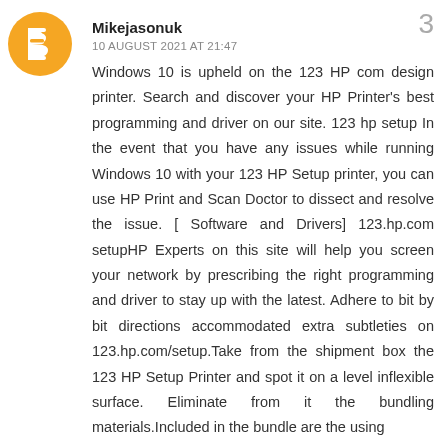[Figure (illustration): Orange circle avatar with a white blogger 'B' icon in the center]
Mikejasonuk
3
10 AUGUST 2021 AT 21:47
Windows 10 is upheld on the 123 HP com design printer. Search and discover your HP Printer's best programming and driver on our site. 123 hp setup In the event that you have any issues while running Windows 10 with your 123 HP Setup printer, you can use HP Print and Scan Doctor to dissect and resolve the issue. [ Software and Drivers] 123.hp.com setupHP Experts on this site will help you screen your network by prescribing the right programming and driver to stay up with the latest. Adhere to bit by bit directions accommodated extra subtleties on 123.hp.com/setup.Take from the shipment box the 123 HP Setup Printer and spot it on a level inflexible surface. Eliminate from it the bundling materials.Included in the bundle are the using